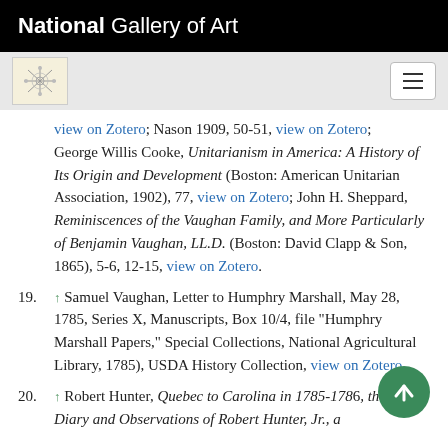National Gallery of Art
view on Zotero; Nason 1909, 50-51, view on Zotero; George Willis Cooke, Unitarianism in America: A History of Its Origin and Development (Boston: American Unitarian Association, 1902), 77, view on Zotero; John H. Sheppard, Reminiscences of the Vaughan Family, and More Particularly of Benjamin Vaughan, LL.D. (Boston: David Clapp & Son, 1865), 5-6, 12-15, view on Zotero.
19. ↑ Samuel Vaughan, Letter to Humphry Marshall, May 28, 1785, Series X, Manuscripts, Box 10/4, file "Humphry Marshall Papers," Special Collections, National Agricultural Library, 1785), USDA History Collection, view on Zotero.
20. ↑ Robert Hunter, Quebec to Carolina in 1785-1786, the Travel Diary and Observations of Robert Hunter, Jr., a